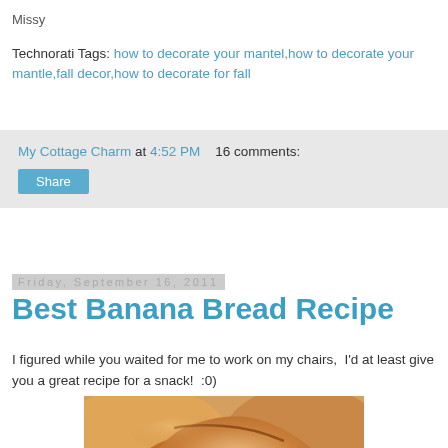Missy
Technorati Tags: how to decorate your mantel,how to decorate your mantle,fall decor,how to decorate for fall
My Cottage Charm at 4:52 PM    16 comments:
Share
Friday, September 16, 2011
Best Banana Bread Recipe
I figured while you waited for me to work on my chairs,  I'd at least give you a great recipe for a snack!  :0)
[Figure (photo): Close-up photo of banana bread loaf with golden-brown crust]